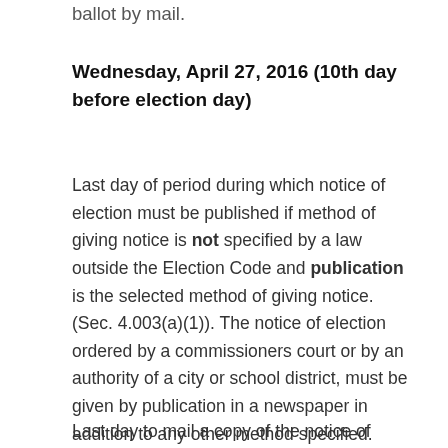ballot by mail.
Wednesday, April 27, 2016 (10th day before election day)
Last day of period during which notice of election must be published if method of giving notice is not specified by a law outside the Election Code and publication is the selected method of giving notice. (Sec. 4.003(a)(1)). The notice of election ordered by a commissioners court or by an authority of a city or school district, must be given by publication in a newspaper in addition to any other method specified. (Secs. 4.003(c) and (d)).
Last day to mail a copy of the notice of election to